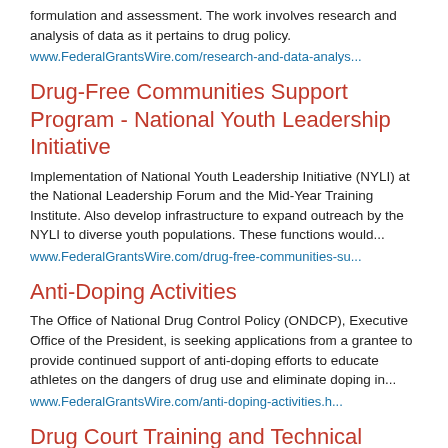formulation and assessment. The work involves research and analysis of data as it pertains to drug policy.
www.FederalGrantsWire.com/research-and-data-analys...
Drug-Free Communities Support Program - National Youth Leadership Initiative
Implementation of National Youth Leadership Initiative (NYLI) at the National Leadership Forum and the Mid-Year Training Institute. Also develop infrastructure to expand outreach by the NYLI to diverse youth populations. These functions would...
www.FederalGrantsWire.com/drug-free-communities-su...
Anti-Doping Activities
The Office of National Drug Control Policy (ONDCP), Executive Office of the President, is seeking applications from a grantee to provide continued support of anti-doping efforts to educate athletes on the dangers of drug use and eliminate doping in...
www.FederalGrantsWire.com/anti-doping-activities.h...
Drug Court Training and Technical Assistance
The Administration supports a combined public health and public